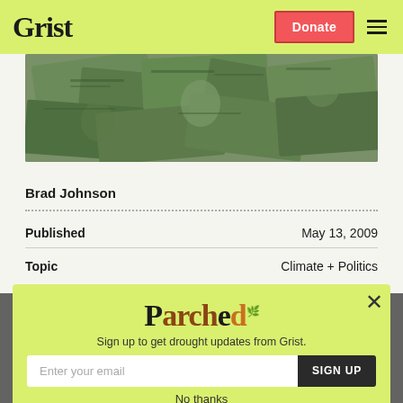Grist | Donate
[Figure (photo): Close-up photo of scattered US dollar bills]
Brad Johnson
Published   May 13, 2009
Topic   Climate + Politics
[Figure (other): Parched newsletter signup popup modal with email input and SIGN UP button on lime green background]